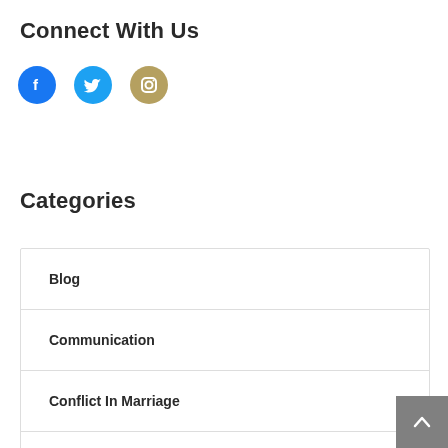Connect With Us
[Figure (infographic): Three social media icons: Facebook (blue circle with F), Twitter (cyan circle with bird), Instagram (tan/gold circle with camera outline)]
Categories
Blog
Communication
Conflict In Marriage
Finances